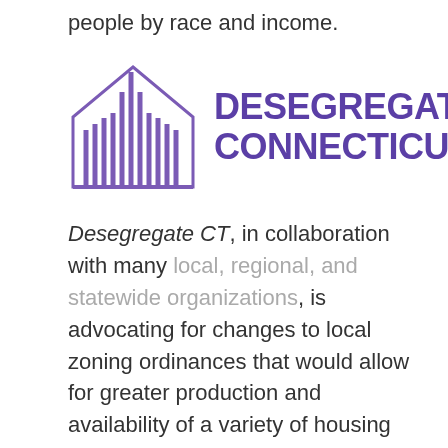people by race and income.
[Figure (logo): Desegregate Connecticut logo with stylized house/building icon made of vertical lines in purple, followed by bold purple text reading DESEGREGATE CONNECTICUT]
Desegregate CT, in collaboration with many local, regional, and statewide organizations, is advocating for changes to local zoning ordinances that would allow for greater production and availability of a variety of housing products in Connecticut's urban, suburban, and rural communities. By increasing the supply of housing, this collaborative advocacy group hopes to